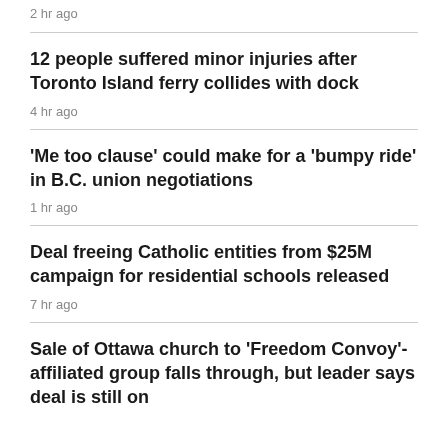2 hr ago
12 people suffered minor injuries after Toronto Island ferry collides with dock
4 hr ago
'Me too clause' could make for a 'bumpy ride' in B.C. union negotiations
1 hr ago
Deal freeing Catholic entities from $25M campaign for residential schools released
7 hr ago
Sale of Ottawa church to 'Freedom Convoy'-affiliated group falls through, but leader says deal is still on